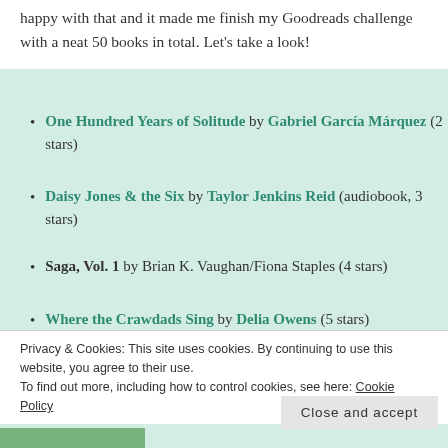happy with that and it made me finish my Goodreads challenge with a neat 50 books in total. Let's take a look!
One Hundred Years of Solitude by Gabriel García Márquez (2 stars)
Daisy Jones & the Six by Taylor Jenkins Reid (audiobook, 3 stars)
Saga, Vol. 1 by Brian K. Vaughan/Fiona Staples (4 stars)
Where the Crawdads Sing by Delia Owens (5 stars)
Privacy & Cookies: This site uses cookies. By continuing to use this website, you agree to their use.
To find out more, including how to control cookies, see here: Cookie Policy
Close and accept